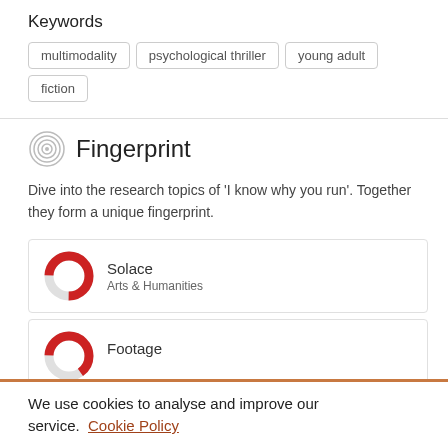Keywords
multimodality
psychological thriller
young adult
fiction
Fingerprint
Dive into the research topics of 'I know why you run'. Together they form a unique fingerprint.
Solace
Arts & Humanities
Footage
Arts & Humanities
We use cookies to analyse and improve our service. Cookie Policy